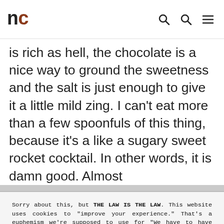nc
is rich as hell, the chocolate is a nice way to ground the sweetness and the salt is just enough to give it a little mild zing. I can't eat more than a few spoonfuls of this thing, because it's a like a sugary sweet rocket cocktail. In other words, it is damn good. Almost
Sorry about this, but THE LAW IS THE LAW. This website uses cookies to "improve your experience." That's a euphemism we're supposed to use for "We have to have these ads because websites cost money." The cookies and/or scripts we use are mostly from Google Analytics, AdSense, and YouTube. However we've instructed Google to anonymize any data that they collect. Just so you know. We'll assume you're ok with this, but you can opt-out if you wish. Just bear in mind, certain embeds and such might not work.<br /> <br /> Also, please be aware that when we link out to products, we may earn a commission for doing so. Because we're certainly not doing it for our health. See our privacy policy & terms of use for more info than you would ever want to know. - Privacy Policy & Terms of Use